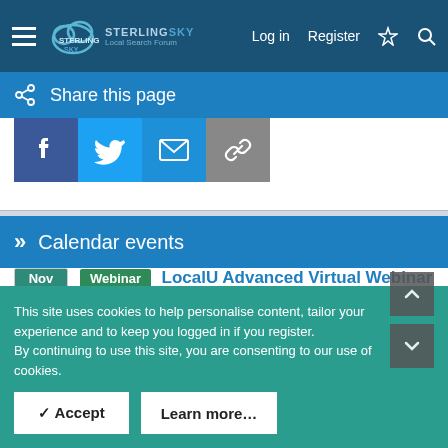Sterling Sky Local Search Forum — Log in  Register
Share this page
[Figure (other): Social share buttons: Facebook, Twitter, Email, Link]
» Calendar events
Webinar  LocalU Advanced Virtual Webinar November 2, 2022
Events
This site uses cookies to help personalise content, tailor your experience and to keep you logged in if you register.
By continuing to use this site, you are consenting to our use of cookies.
✓ Accept    Learn more…